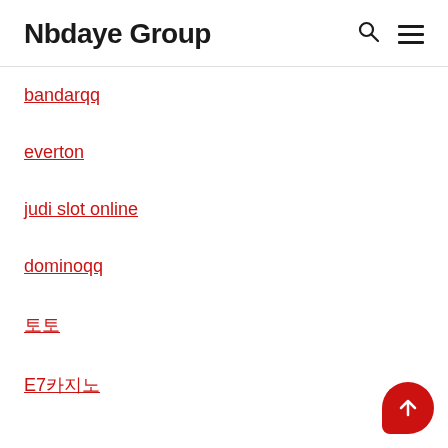Nbdaye Group
bandarqq
everton
judi slot online
dominoqq
토토
E7카지노